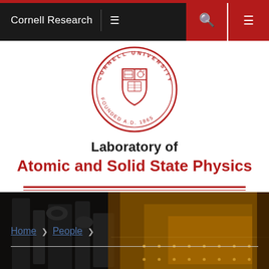Cornell Research
[Figure (logo): Cornell University seal/crest circular logo in red and white]
Laboratory of Atomic and Solid State Physics
[Figure (photo): Dark laboratory photo showing scientific equipment and optical bench with golden/amber lighting]
Home > People >